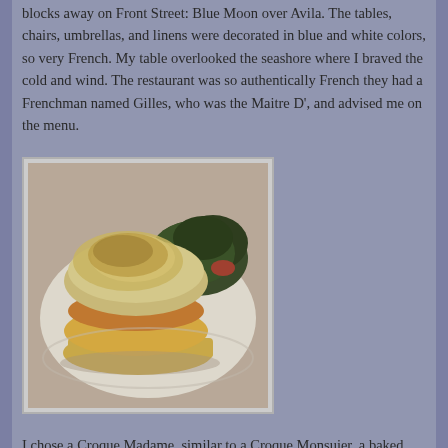blocks away on Front Street: Blue Moon over Avila. The tables, chairs, umbrellas, and linens were decorated in blue and white colors, so very French. My table overlooked the seashore where I braved the cold and wind. The restaurant was so authentically French they had a Frenchman named Gilles, who was the Maitre D', and advised me on the menu.
[Figure (photo): A photo of a Croque Madame dish — a baked ham and gruyere sandwich on sourdough with bechamel sauce and an egg on top, served with greens on the side, on a white plate.]
I chose a Croque Madame, similar to a Croque Monsuier, a baked ham and gruyere on sourdough covered in bechamel sauce, with an egg on top if you are the Madame! ($18) We talked Paris and French food, as the French music swirled around us. I was in Heaven! I shared I was a travel writer and could I take his, and my